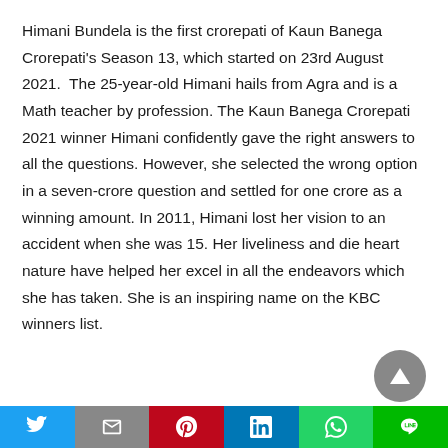Himani Bundela is the first crorepati of Kaun Banega Crorepati's Season 13, which started on 23rd August 2021. The 25-year-old Himani hails from Agra and is a Math teacher by profession. The Kaun Banega Crorepati 2021 winner Himani confidently gave the right answers to all the questions. However, she selected the wrong option in a seven-crore question and settled for one crore as a winning amount. In 2011, Himani lost her vision to an accident when she was 15. Her liveliness and die heart nature have helped her excel in all the endeavors which she has taken. She is an inspiring name on the KBC winners list.